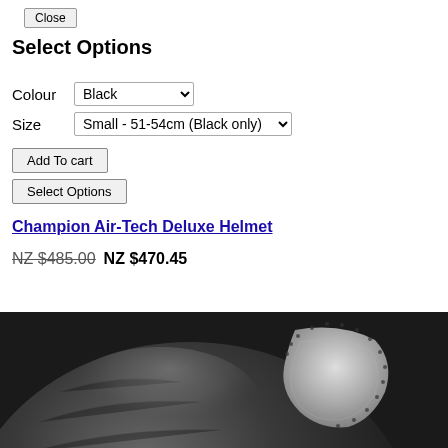Close
Select Options
Colour  Black
Size  Small - 51-54cm (Black only)
Add To cart
Select Options
Champion Air-Tech Deluxe Helmet
NZ $485.00  NZ $470.45
Add to favourites
[Figure (photo): Close-up photograph of a black equestrian helmet (Champion Air-Tech Deluxe Helmet) with a white/silver textured panel detail on the top-right portion, showing the helmet's curved profile from above.]